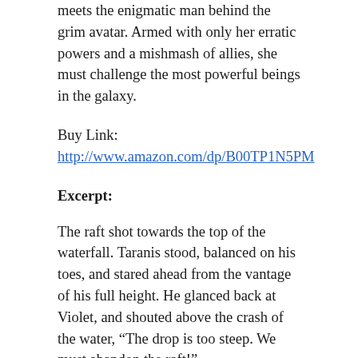meets the enigmatic man behind the grim avatar. Armed with only her erratic powers and a mishmash of allies, she must challenge the most powerful beings in the galaxy.
Buy Link:
http://www.amazon.com/dp/B00TP1N5PM
Excerpt:
The raft shot towards the top of the waterfall. Taranis stood, balanced on his toes, and stared ahead from the vantage of his full height. He glanced back at Violet, and shouted above the crash of the water, “The drop is too steep. We must abandon the raft!”